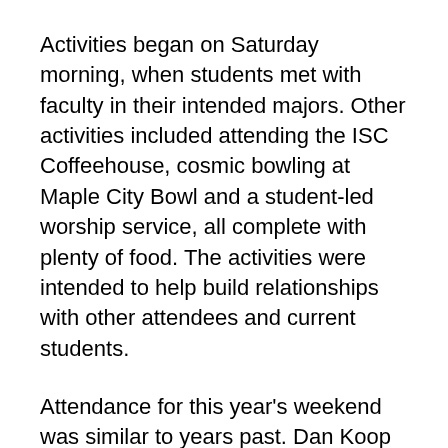Activities began on Saturday morning, when students met with faculty in their intended majors. Other activities included attending the ISC Coffeehouse, cosmic bowling at Maple City Bowl and a student-led worship service, all complete with plenty of food. The activities were intended to help build relationships with other attendees and current students.
Attendance for this year's weekend was similar to years past. Dan Koop Liechty, director of admissions, said the weekend is a chance for admitted students who have visited campus before to meet other students and current students.